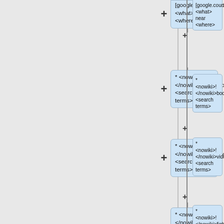[Figure (flowchart): Flowchart showing a series of wiki/Google search command nodes connected by plus signs and vertical lines. Each node is a blue rounded rectangle containing: 1) '[google.country.code] <what> near <where>', 2) '* <nowiki>!</nowiki>book[.google.country.code] <search terms>', 3) '* <nowiki>!</nowiki>video[.google.country.code] <search terms>', 4) '* <nowiki>!</nowiki>fight <word(s) one> vs <word(s) two>', 5) '* <nowiki>!</nowiki>trans region@region'. The layout has a gray left panel, a vertical divider, and the flowchart on the right.]